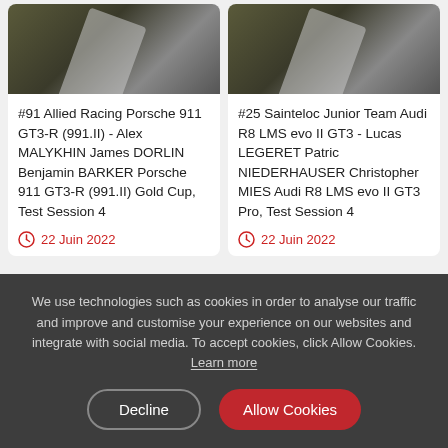[Figure (photo): Top portion of a racing car photo card - dark asphalt road with white line, partially cropped]
#91 Allied Racing Porsche 911 GT3-R (991.II) - Alex MALYKHIN James DORLIN Benjamin BARKER Porsche 911 GT3-R (991.II) Gold Cup, Test Session 4
22 Juin 2022
[Figure (photo): Top portion of a racing car photo card - dark asphalt road with white line, partially cropped]
#25 Sainteloc Junior Team Audi R8 LMS evo II GT3 - Lucas LEGERET Patric NIEDERHAUSER Christopher MIES Audi R8 LMS evo II GT3 Pro, Test Session 4
22 Juin 2022
We use technologies such as cookies in order to analyse our traffic and improve and customise your experience on our websites and integrate with social media. To accept cookies, click Allow Cookies. Learn more
Decline
Allow Cookies